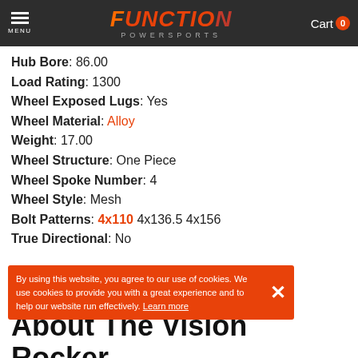MENU | FUNCTION POWERSPORTS | Cart 0
Hub Bore: 86.00
Load Rating: 1300
Wheel Exposed Lugs: Yes
Wheel Material: Alloy
Weight: 17.00
Wheel Structure: One Piece
Wheel Spoke Number: 4
Wheel Style: Mesh
Bolt Patterns: 4x110 4x136.5 4x156
True Directional: No
By using this website, you agree to our use of cookies. We use cookies to provide you with a great experience and to help our website run effectively. Learn more
Black with Gunmetal Gray Spoke Faces
About The Vision Rocker